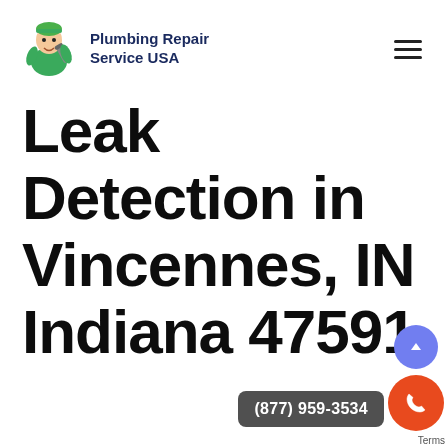Plumbing Repair Service USA
Leak Detection in Vincennes, IN Indiana 47591
[Figure (screenshot): Phone call button widget with number (877) 959-3534 and orange call icon, plus blue scroll-to-top button, at bottom right corner of page]